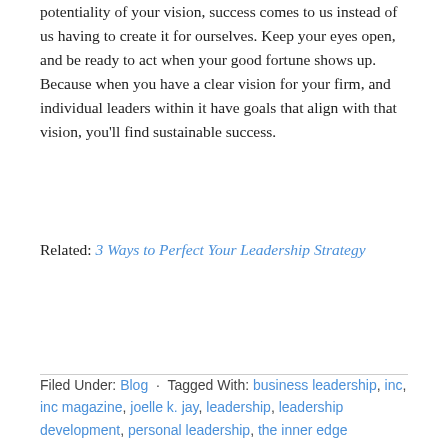potentiality of your vision, success comes to us instead of us having to create it for ourselves. Keep your eyes open, and be ready to act when your good fortune shows up. Because when you have a clear vision for your firm, and individual leaders within it have goals that align with that vision, you'll find sustainable success.
Related: 3 Ways to Perfect Your Leadership Strategy
Filed Under: Blog · Tagged With: business leadership, inc, inc magazine, joelle k. jay, leadership, leadership development, personal leadership, the inner edge